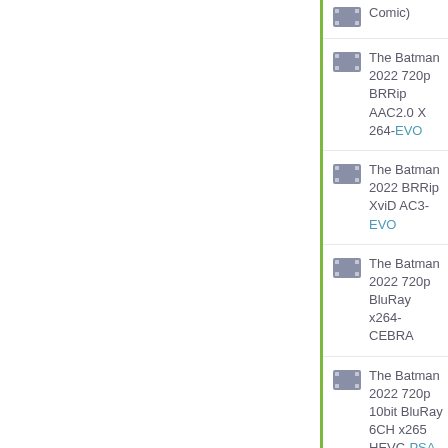Comic)
The Batman 2022 720p BRRip AAC2.0 X 264-EVO
The Batman 2022 BRRip XviD AC3-EVO
The Batman 2022 720p BluRay x264-CEBRA
The Batman 2022 720p 10bit BluRay 6CH x265 HEVC-PSA
বাংলাদেশে বাংলা[বাংলাদেশ] The Batman 2022 BluRay 1080p x265 10bit DD5.1 MiniHD
The Batman 2022 SPANiSH 1080p BluRay x264-dem3nt3